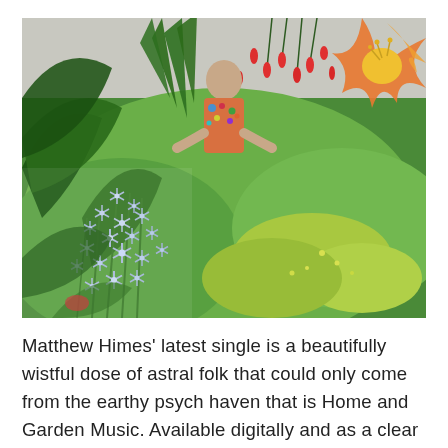[Figure (photo): Outdoor garden photo showing a man in a colourful floral shirt crouching among lush green plants and flowers. In the foreground are clusters of pale blue star-shaped flowers (amsonia or similar). In the upper right a large orange and yellow hanging flower hangs into frame. Background has small red tubular flowers and yellow-green foliage. Bright daylight, concrete wall visible behind person.]
Matthew Himes' latest single is a beautifully wistful dose of astral folk that could only come from the earthy psych haven that is Home and Garden Music. Available digitally and as a clear limited edition lathe-cut seven